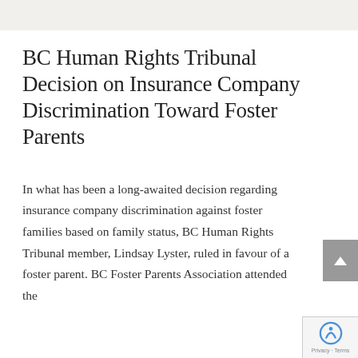BC Human Rights Tribunal Decision on Insurance Company Discrimination Toward Foster Parents
In what has been a long-awaited decision regarding insurance company discrimination against foster families based on family status, BC Human Rights Tribunal member, Lindsay Lyster, ruled in favour of a foster parent. BC Foster Parents Association attended the